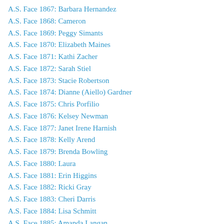A.S. Face 1867: Barbara Hernandez
A.S. Face 1868: Cameron
A.S. Face 1869: Peggy Simants
A.S. Face 1870: Elizabeth Maines
A.S. Face 1871: Kathi Zacher
A.S. Face 1872: Sarah Stiel
A.S. Face 1873: Stacie Robertson
A.S. Face 1874: Dianne (Aiello) Gardner
A.S. Face 1875: Chris Porfilio
A.S. Face 1876: Kelsey Newman
A.S. Face 1877: Janet Irene Harnish
A.S. Face 1878: Kelly Arend
A.S. Face 1879: Brenda Bowling
A.S. Face 1880: Laura
A.S. Face 1881: Erin Higgins
A.S. Face 1882: Ricki Gray
A.S. Face 1883: Cheri Darris
A.S. Face 1884: Lisa Schmitt
A.S. Face 1885: Amanda Langan
A.S. Face 1886: Susan Lanigan